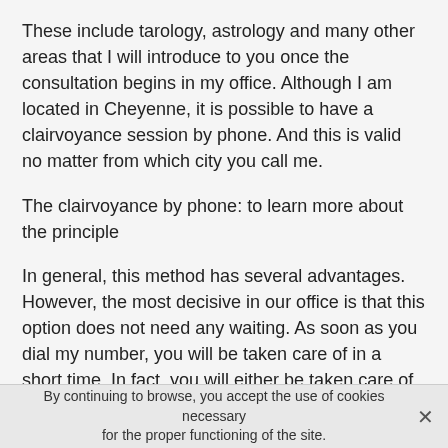These include tarology, astrology and many other areas that I will introduce to you once the consultation begins in my office. Although I am located in Cheyenne, it is possible to have a clairvoyance session by phone. And this is valid no matter from which city you call me.
The clairvoyance by phone: to learn more about the principle
In general, this method has several advantages. However, the most decisive in our office is that this option does not need any waiting. As soon as you dial my number, you will be taken care of in a short time. In fact, you will either be taken care of by a psychic medium @a_place_2. You will not have to use your credit card either.
In fact, as far as payment is concerned, it will be done
By continuing to browse, you accept the use of cookies necessary for the proper functioning of the site.